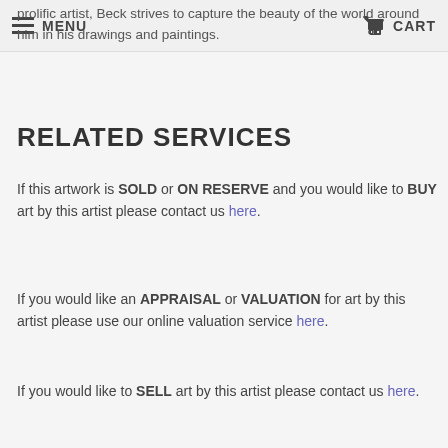MENU  CART
prolific artist, Beck strives to capture the beauty of the world around him in his drawings and paintings.
RELATED SERVICES
If this artwork is SOLD or ON RESERVE and you would like to BUY art by this artist please contact us here.
If you would like an APPRAISAL or VALUATION for art by this artist please use our online valuation service here.
If you would like to SELL art by this artist please contact us here.